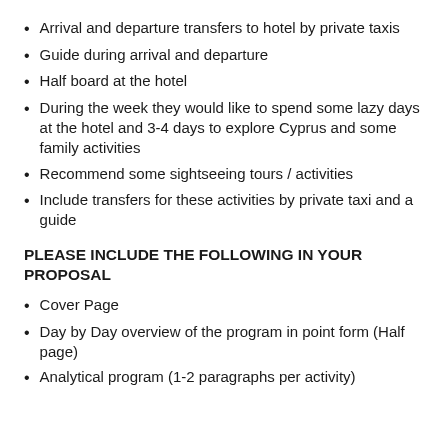Arrival and departure transfers to hotel by private taxis
Guide during arrival and departure
Half board at the hotel
During the week they would like to spend some lazy days at the hotel and 3-4 days to explore Cyprus and some family activities
Recommend some sightseeing tours / activities
Include transfers for these activities by private taxi and a guide
PLEASE INCLUDE THE FOLLOWING IN YOUR PROPOSAL
Cover Page
Day by Day overview of the program in point form (Half page)
Analytical program (1-2 paragraphs per activity)